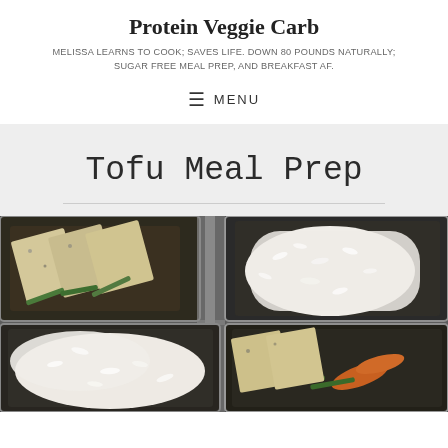Protein Veggie Carb
MELISSA LEARNS TO COOK; SAVES LIFE. DOWN 80 POUNDS NATURALLY; SUGAR FREE MEAL PREP, AND BREAKFAST AF.
≡ MENU
Tofu Meal Prep
[Figure (photo): Photo of meal prep containers with tofu, white rice, green beans, and carrots arranged in plastic containers]